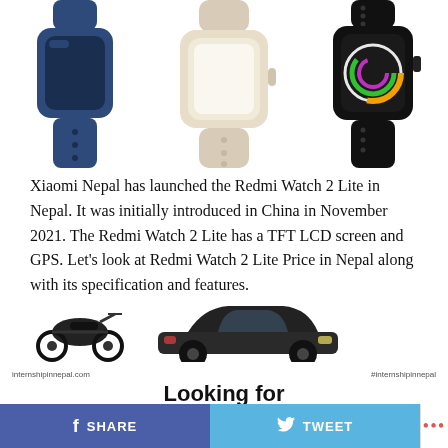[Figure (photo): Three Redmi Watch 2 Lite smartwatches in blue, cream/beige, and black colors shown from above on white background]
Xiaomi Nepal has launched the Redmi Watch 2 Lite in Nepal. It was initially introduced in China in November 2021. The Redmi Watch 2 Lite has a TFT LCD screen and GPS. Let’s look at Redmi Watch 2 Lite Price in Nepal along with its specification and features.
[Figure (photo): Advertisement banner showing a motorcycle and a dark sedan car. Text reads: internshipinnepal.com | #internshipinnepal | Looking for Internship Opportunities?]
SHARE   TWEET   ...